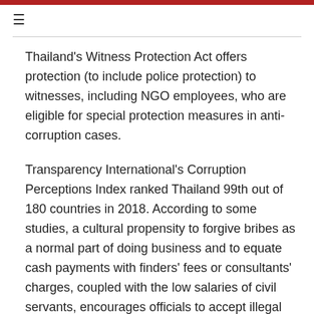Thailand's Witness Protection Act offers protection (to include police protection) to witnesses, including NGO employees, who are eligible for special protection measures in anti-corruption cases.
Transparency International's Corruption Perceptions Index ranked Thailand 99th out of 180 countries in 2018. According to some studies, a cultural propensity to forgive bribes as a normal part of doing business and to equate cash payments with finders' fees or consultants' charges, coupled with the low salaries of civil servants, encourages officials to accept illegal inducements. U.S. executives with experience in Thailand often advise new-to market companies that it is far easier to avoid corrupt transactions from the beginning than to stop such practices once a